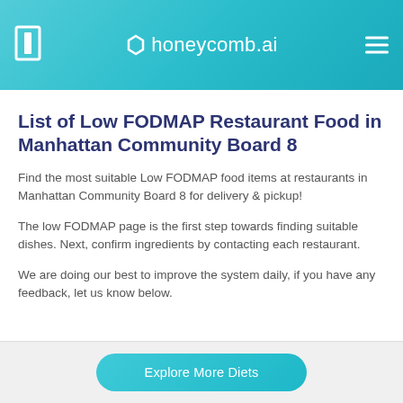honeycomb.ai
List of Low FODMAP Restaurant Food in Manhattan Community Board 8
Find the most suitable Low FODMAP food items at restaurants in Manhattan Community Board 8 for delivery & pickup!
The low FODMAP page is the first step towards finding suitable dishes. Next, confirm ingredients by contacting each restaurant.
We are doing our best to improve the system daily, if you have any feedback, let us know below.
Explore More Diets